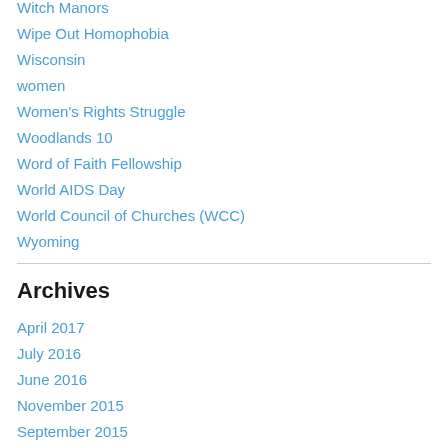Witch Manors
Wipe Out Homophobia
Wisconsin
women
Women's Rights Struggle
Woodlands 10
Word of Faith Fellowship
World AIDS Day
World Council of Churches (WCC)
Wyoming
Archives
April 2017
July 2016
June 2016
November 2015
September 2015
July 2015
June 2015